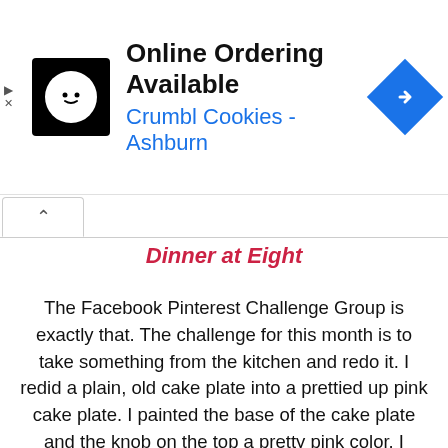[Figure (screenshot): Ad banner for Crumbl Cookies - Ashburn showing online ordering available, with cookie logo icon on left, navigation icon on right, and small play/close arrows on far left.]
Dinner at Eight
The Facebook Pinterest Challenge Group is exactly that. The challenge for this month is to take something from the kitchen and redo it. I redid a plain, old cake plate into a prettied up pink cake plate. I painted the base of the cake plate and the knob on the top a pretty pink color. I added a fluffy bow to the knob. Done. I could probably have painted something on the front of the cover (just thinking of that now) but anyway, here it is.
Here is how the cake plate looks now. The cover is in the